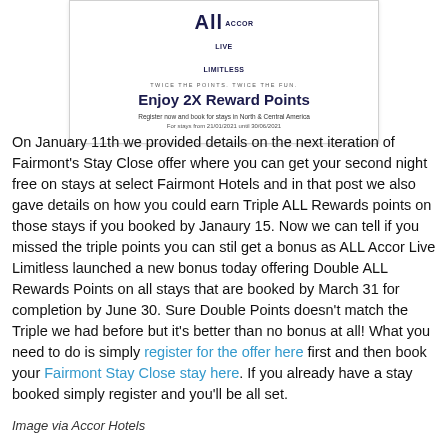[Figure (infographic): ALL Accor Live Limitless promotional banner showing 'Enjoy 2X Reward Points' offer with taglines and date range 21/01/2021 until 30/06/2021]
On January 11th we provided details on the next iteration of Fairmont's Stay Close offer where you can get your second night free on stays at select Fairmont Hotels and in that post we also gave details on how you could earn Triple ALL Rewards points on those stays if you booked by Janaury 15. Now we can tell if you missed the triple points you can stil get a bonus as ALL Accor Live Limitless launched a new bonus today offering Double ALL Rewards Points on all stays that are booked by March 31 for completion by June 30. Sure Double Points doesn't match the Triple we had before but it's better than no bonus at all! What you need to do is simply register for the offer here first and then book your Fairmont Stay Close stay here. If you already have a stay booked simply register and you'll be all set.
Image via Accor Hotels